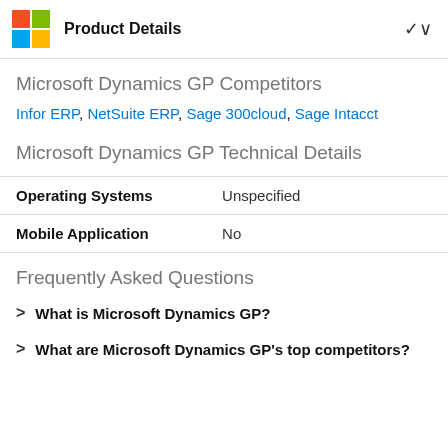Product Details
Microsoft Dynamics GP Competitors
Infor ERP, NetSuite ERP, Sage 300cloud, Sage Intacct
Microsoft Dynamics GP Technical Details
|  |  |
| --- | --- |
| Operating Systems | Unspecified |
| Mobile Application | No |
Frequently Asked Questions
What is Microsoft Dynamics GP?
What are Microsoft Dynamics GP's top competitors?